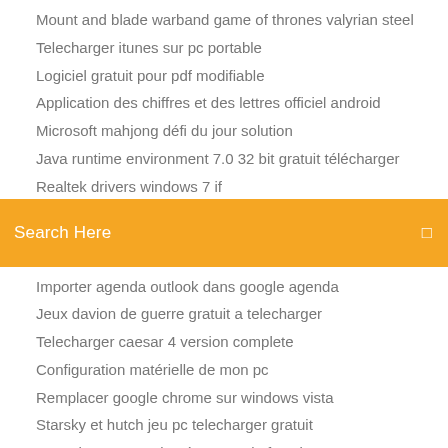Mount and blade warband game of thrones valyrian steel
Telecharger itunes sur pc portable
Logiciel gratuit pour pdf modifiable
Application des chiffres et des lettres officiel android
Microsoft mahjong défi du jour solution
Java runtime environment 7.0 32 bit gratuit télécharger
Realtek drivers windows 7 if
[Figure (screenshot): Orange search bar with text 'Search Here' and a search icon on the right]
Importer agenda outlook dans google agenda
Jeux davion de guerre gratuit a telecharger
Telecharger caesar 4 version complete
Configuration matérielle de mon pc
Remplacer google chrome sur windows vista
Starsky et hutch jeu pc telecharger gratuit
Snapchat vous a ajouté grace a la fonction
Changer image de démarrage windows 7